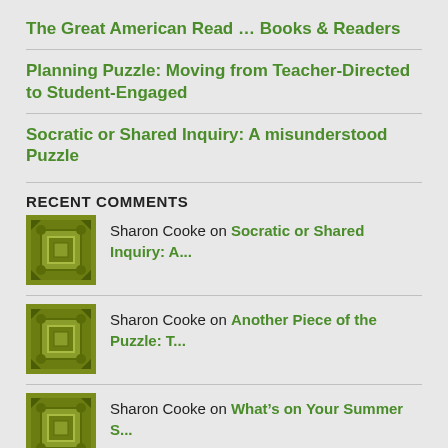The Great American Read … Books & Readers
Planning Puzzle: Moving from Teacher-Directed to Student-Engaged
Socratic or Shared Inquiry: A misunderstood Puzzle
RECENT COMMENTS
Sharon Cooke on Socratic or Shared Inquiry: A...
Sharon Cooke on Another Piece of the Puzzle: T...
Sharon Cooke on What's on Your Summer S...